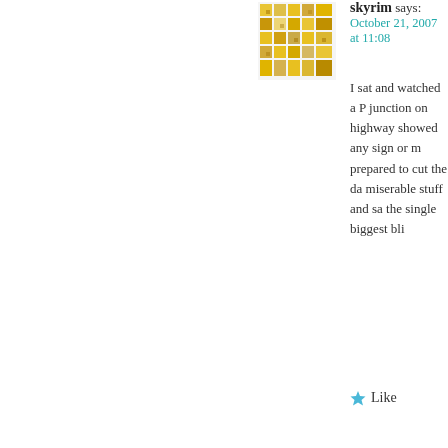[Figure (illustration): Yellow pixel/mosaic pattern avatar for user skyrim]
skyrim says:
October 21, 2007 at 11:08
I sat and watched a P junction on highway showed any sign or m prepared to cut the da miserable stuff and sa the single biggest bli
Like
[Figure (illustration): Small dark bird (hawk or falcon) perched on a post, avatar for Ralph Maughan]
Ralph Maughan says:
October 21, 2007 at 11:41
Fortunately the use o esthetics, and the bar
In many cases sun-po livestock grazing.
While these can be p deer can jump them a
They provide a less e